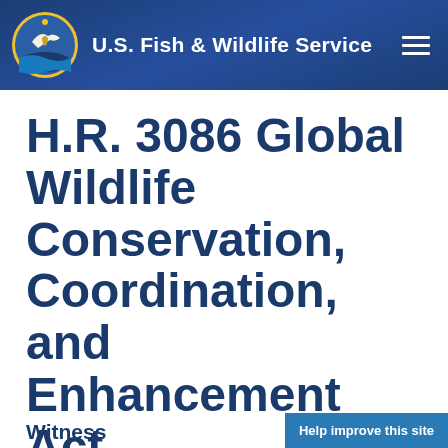U.S. Fish & Wildlife Service
H.R. 3086 Global Wildlife Conservation, Coordination, and Enhancement Act
Witness